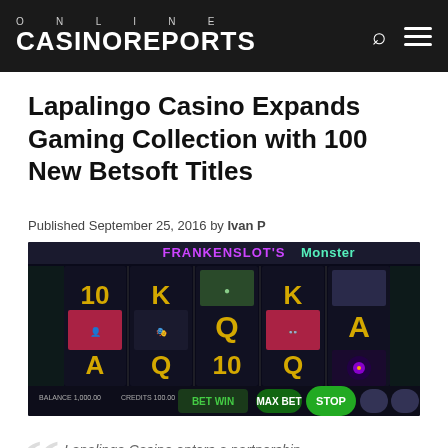ONLINE CASINOREPORTS
Lapalingo Casino Expands Gaming Collection with 100 New Betsoft Titles
Published September 25, 2016 by Ivan P
[Figure (screenshot): Screenshot of Frankenslot's Monster slot game by Betsoft, showing reels with playing card symbols (10, K, Q, A) and monster character symbols on a dark gothic background.]
Lapalingo Casino enters a partnership